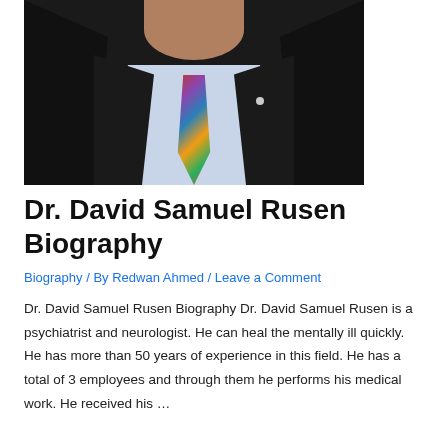[Figure (photo): Portrait photo of Dr. David Samuel Rusen, a man in a dark suit with a colorful patterned tie and light blue dress shirt, photographed against a dark background.]
Dr. David Samuel Rusen Biography
Biography / By Redwan Ahmed / Leave a Comment
Dr. David Samuel Rusen Biography Dr. David Samuel Rusen is a psychiatrist and neurologist. He can heal the mentally ill quickly. He has more than 50 years of experience in this field. He has a total of 3 employees and through them he performs his medical work. He received his …